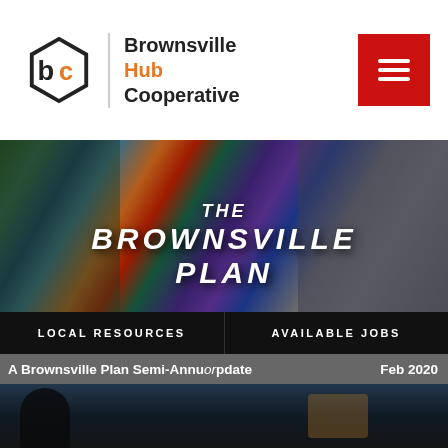[Figure (logo): Brownsville Hub Cooperative logo with stylized 'bc' hexagon icon in black and orange]
Brownsville Hub Cooperative
[Figure (photo): Hero banner photo showing a colorful mural and community members, with text overlay reading 'THE BROWNSVILLE PLAN']
LOCAL RESOURCES
AVAILABLE JOBS
A Brownsville Plan Semi-Annual Update
Feb 2020
[Figure (photo): Bottom section showing a dark photo of a person in a suit]